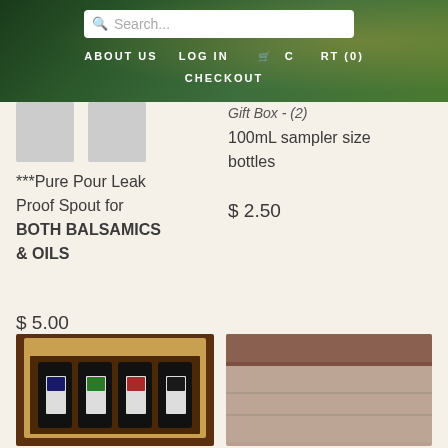[Figure (screenshot): Website header with green leafy background, search bar, navigation links: ABOUT US, LOG IN, cart icon CART (0), and CHECKOUT]
Gift Box - (2) 100mL sampler size bottles
$ 2.50
***Pure Pour Leak Proof Spout for BOTH BALSAMICS & OILS
$ 5.00
[Figure (photo): A cardboard gift box containing four small dark bottles with labels, arranged in a row]
[Figure (photo): A plain cardboard box with brown stripe at top, partially visible]